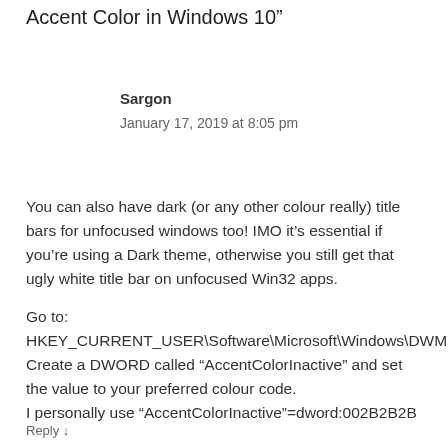Accent Color in Windows 10”
Sargon
January 17, 2019 at 8:05 pm
You can also have dark (or any other colour really) title bars for unfocused windows too! IMO it’s essential if you’re using a Dark theme, otherwise you still get that ugly white title bar on unfocused Win32 apps.
Go to:
HKEY_CURRENT_USER\Software\Microsoft\Windows\DWM
Create a DWORD called “AccentColorInactive” and set the value to your preferred colour code.
I personally use “AccentColorInactive”=dword:002B2B2B
Reply ↓